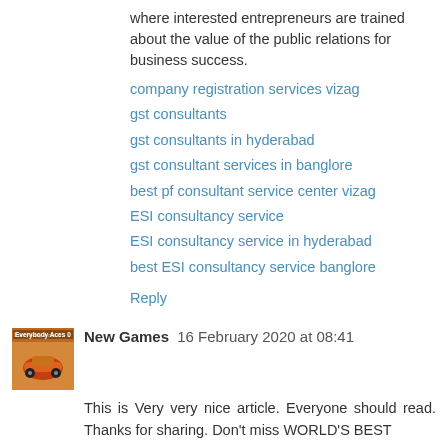where interested entrepreneurs are trained about the value of the public relations for business success.
company registration services vizag
gst consultants
gst consultants in hyderabad
gst consultant services in banglore
best pf consultant service center vizag
ESI consultancy service
ESI consultancy service in hyderabad
best ESI consultancy service banglore
Reply
[Figure (photo): Avatar image for New Games commenter — shows an orange racing car game screenshot with text overlay]
New Games  16 February 2020 at 08:41
This is Very very nice article. Everyone should read. Thanks for sharing. Don't miss WORLD'S BEST
Dus Bahane 2.0 Full Video Song From BAAGHI 3 (Tiger Shroff, Shraddha Kapoor) Dus Bahane Karke Le Gaye Dil
Reply